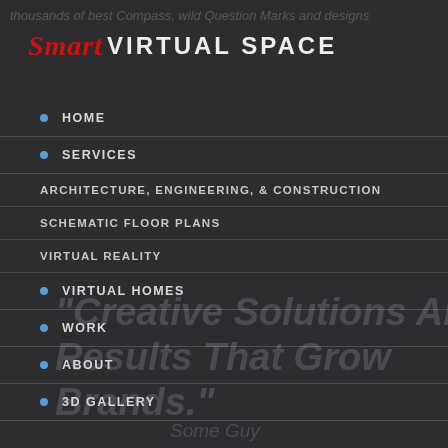thousands of best Compass, wild Question Marks and designs
[Figure (logo): Smart Virtual Space logo with 'Smart' in red italic script and 'VIRTUAL SPACE' in bold white uppercase]
HOME
SERVICES
ARCHITECTURE, ENGINEERING, & CONSTRUCTION
SCHEMATIC FLOOR PLANS
VIRTUAL REALITY
VIRTUAL HOMES
WORK
ABOUT
3D GALLERY
"Creative Solutions And Results That Grow Brands."
Some Guy